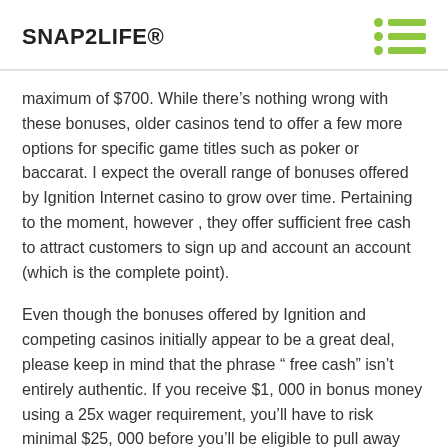SNAP2LIFE®
maximum of $700. While there's nothing wrong with these bonuses, older casinos tend to offer a few more options for specific game titles such as poker or baccarat. I expect the overall range of bonuses offered by Ignition Internet casino to grow over time. Pertaining to the moment, however, they offer sufficient free cash to attract customers to sign up and account an account (which is the complete point).
Even though the bonuses offered by Ignition and competing casinos initially appear to be a great deal, please keep in mind that the phrase " free cash" isn't entirely authentic. If you receive $1,000 in bonus money using a 25x wager requirement, you'll have to risk minimal $25,000 before you'll be eligible to pull away the initial amount (or some of the winnings you've indexed along the way). You may also need to meet the